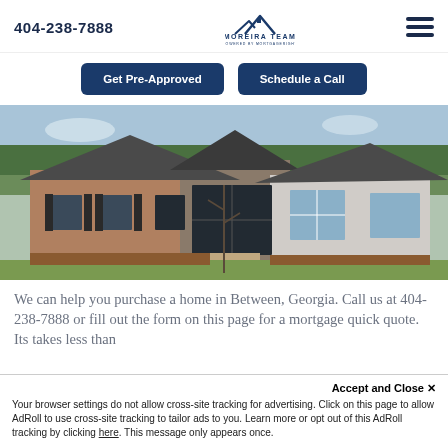404-238-7888
[Figure (logo): Moreira Team powered by MortgageRight logo with house/mountain icon]
Get Pre-Approved
Schedule a Call
[Figure (photo): Exterior photo of a suburban brick and stone house with green lawn]
We can help you purchase a home in Between, Georgia. Call us at 404-238-7888 or fill out the form on this page for a mortgage quick quote. Its takes less than
Accept and Close ✕
Your browser settings do not allow cross-site tracking for advertising. Click on this page to allow AdRoll to use cross-site tracking to tailor ads to you. Learn more or opt out of this AdRoll tracking by clicking here. This message only appears once.